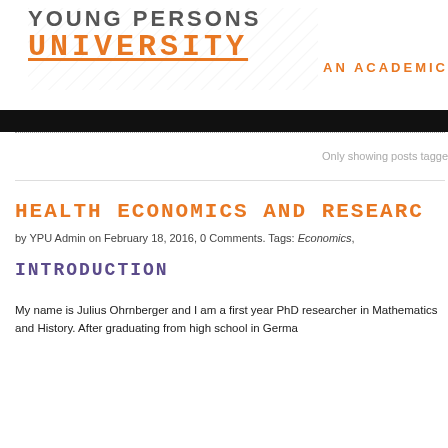[Figure (logo): Young Persons University logo with diagonal grid pattern overlay. 'YOUNG PERSONS' in grey uppercase, 'UNIVERSITY' in orange courier-style font with underline.]
AN ACADEMIC
Only showing posts tagge
HEALTH ECONOMICS AND RESEARC
by YPU Admin on February 18, 2016, 0 Comments. Tags: Economics,
INTRODUCTION
My name is Julius Ohrnberger and I am a first year PhD researcher in Mathematics and History. After graduating from high school in Germa